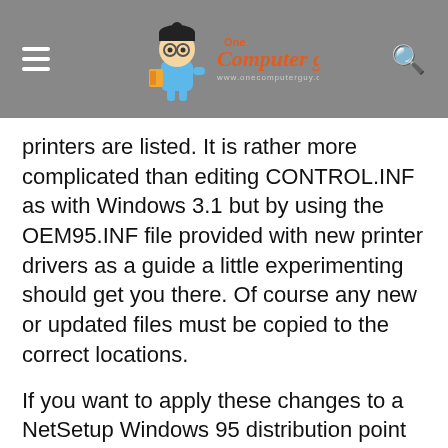One Computer Guy — www.onecomputerguy.com
printers are listed. It is rather more complicated than editing CONTROL.INF as with Windows 3.1 but by using the OEM95.INF file provided with new printer drivers as a guide a little experimenting should get you there. Of course any new or updated files must be copied to the correct locations.
If you want to apply these changes to a NetSetup Windows 95 distribution point you must specify that the MSPRINT files are precopied using CUSTOM.INF, otherwise standard CAB extracted versions will be used